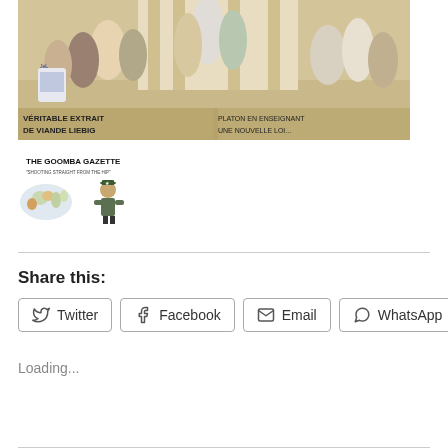[Figure (illustration): Historical painting/illustration of robed figures in a classical scene, with text overlays reading 'VERITABLE EXTRAIT DE VIANDE LIEBIG' on the left and similar text on the right. Figures are dressed in ancient Greek or Roman togas.]
[Figure (logo): The Goomba Gazette logo with text 'THE GOOMBA GAZETTE' and subtitle 'SHOOTING STRAIGHT FROM THE HIP', featuring a world map and a cartoon muscular figure in military gear.]
Share this:
Twitter
Facebook
Email
WhatsApp
Loading...